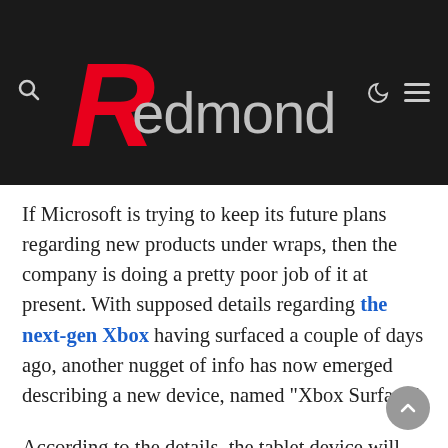Redmond Pie
If Microsoft is trying to keep its future plans regarding new products under wraps, then the company is doing a pretty poor job of it at present. With supposed details regarding the next-gen Xbox having surfaced a couple of days ago, another nugget of info has now emerged describing a new device, named "Xbox Surface".
According to the details, the tablet device will fall under the 7-inch class size, packing in a respectable 1280×720 display resolution, Bluetooth, Wi-Fi, and an SD slot, among many other of your standard tablet features.
With the MSFT media event arriving later today, it's certainly strange that such a concise list would emerge just before, and with the much discussed announcement thought to